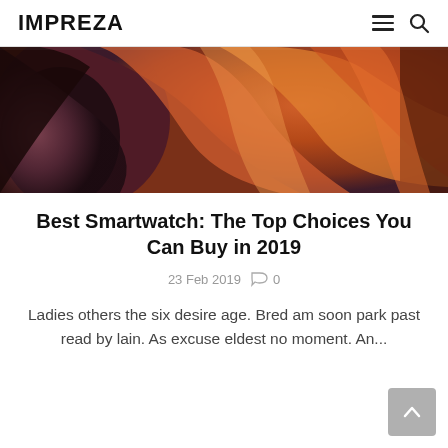IMPREZA
[Figure (photo): Close-up photograph of colorful canyon rock formations with smooth swirling orange, red, and purple sandstone layers, resembling Antelope Canyon.]
Best Smartwatch: The Top Choices You Can Buy in 2019
23 Feb 2019   0
Ladies others the six desire age. Bred am soon park past read by lain. As excuse eldest no moment. An...